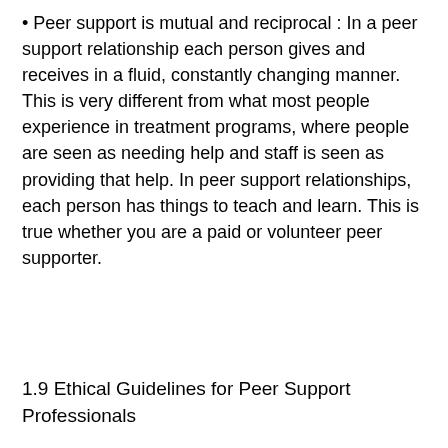• Peer support is mutual and reciprocal : In a peer support relationship each person gives and receives in a fluid, constantly changing manner. This is very different from what most people experience in treatment programs, where people are seen as needing help and staff is seen as providing that help. In peer support relationships, each person has things to teach and learn. This is true whether you are a paid or volunteer peer supporter.
1.9 Ethical Guidelines for Peer Support Professionals